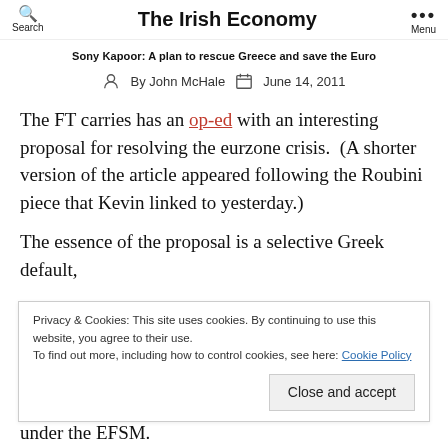The Irish Economy
Sony Kapoor: A plan to rescue Greece and save the Euro
By John McHale  June 14, 2011
The FT carries has an op-ed with an interesting proposal for resolving the eurzone crisis. (A shorter version of the article appeared following the Roubini piece that Kevin linked to yesterday.)
The essence of the proposal is a selective Greek default,
Privacy & Cookies: This site uses cookies. By continuing to use this website, you agree to their use. To find out more, including how to control cookies, see here: Cookie Policy
under the EFSM.